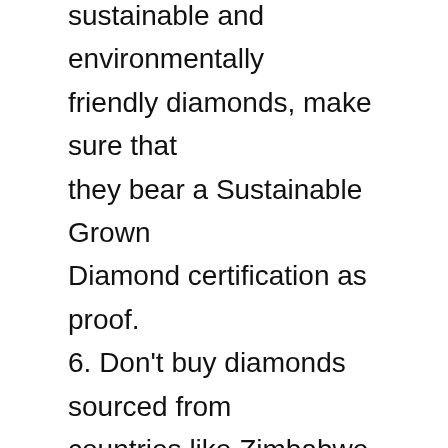sustainable and environmentally friendly diamonds, make sure that they bear a Sustainable Grown Diamond certification as proof.
6. Don't buy diamonds sourced from countries like Zimbabwe and Angola, where human rights abuses in and around mines have been well documented. Instead, buy diamonds from Canada, Namibia, and Botswana.
Related Article: Ethically sourced jewelry